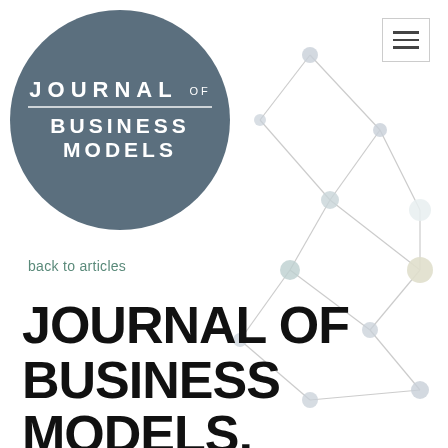[Figure (logo): Journal of Business Models logo in a dark grey-blue circle with white uppercase text]
back to articles
JOURNAL OF BUSINESS MODELS, SPECIAL ISSUE, SELECTED